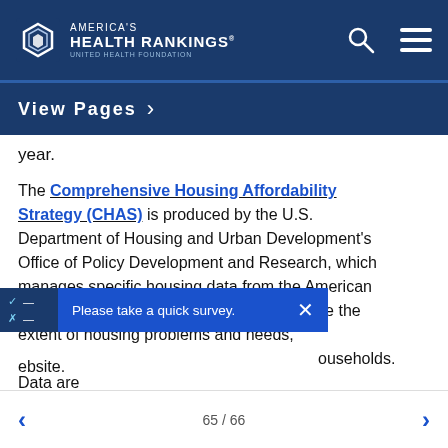America's Health Rankings — United Health Foundation
View Pages
year.
The Comprehensive Housing Affordability Strategy (CHAS) is produced by the U.S. Department of Housing and Urban Development's Office of Policy Development and Research, which manages specific housing data from the American Community Survey. These data demonstrate the extent of housing problems and needs, [...]households. Data are [...Planning/CHAS website.
65 / 66